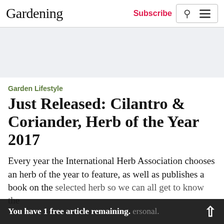Gardening | Subscribe
[Figure (other): Light gray advertisement/banner placeholder area]
Garden Lifestyle
Just Released: Cilantro & Coriander, Herb of the Year 2017
Every year the International Herb Association chooses an herb of the year to feature, as well as publishes a book on the selected herb so we can all get to know the herb on a more personal.
You have 1 free article remaining.